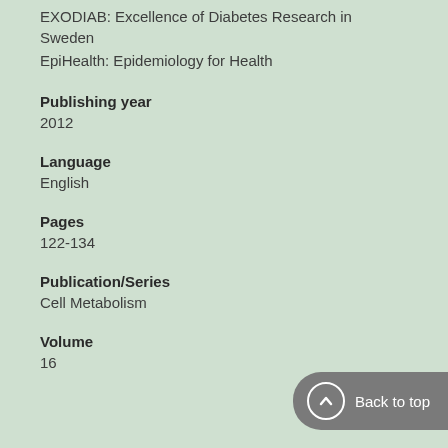EXODIAB: Excellence of Diabetes Research in Sweden
EpiHealth: Epidemiology for Health
Publishing year
2012
Language
English
Pages
122-134
Publication/Series
Cell Metabolism
Volume
16